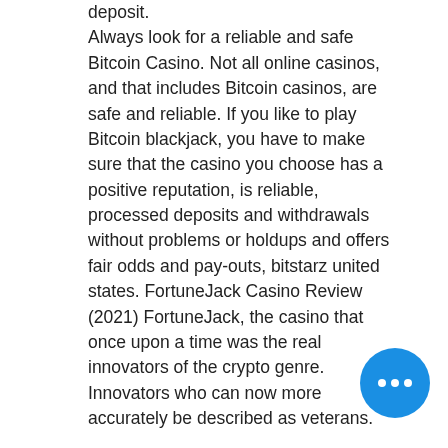deposit.
Always look for a reliable and safe Bitcoin Casino. Not all online casinos, and that includes Bitcoin casinos, are safe and reliable. If you like to play Bitcoin blackjack, you have to make sure that the casino you choose has a positive reputation, is reliable, processed deposits and withdrawals without problems or holdups and offers fair odds and pay-outs, bitstarz united states. FortuneJack Casino Review (2021) FortuneJack, the casino that once upon a time was the real innovators of the crypto genre. Innovators who can now more accurately be described as veterans.

 They've been running contests to win a Tesla model 3, a trip to Tokyo and the Olympics there. And every Wednesday they offer free spins to their loyal players, bitstarz no deposit bonus 20 tours gratuits. The best Bitcoin casino sites will naturally make their
[Figure (other): Blue circular chat button with three white dots (ellipsis) in the bottom-right corner]